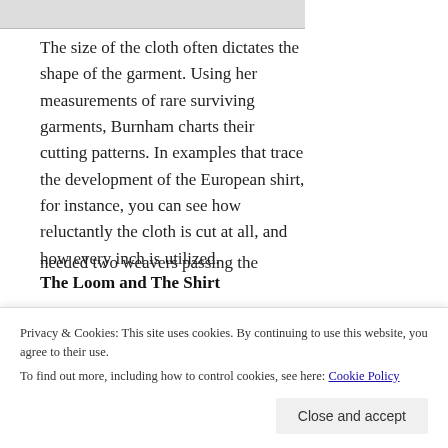[Figure (photo): Partial image at top of page, cropped, appears to show text or illustration in grayscale]
The size of the cloth often dictates the shape of the garment. Using her measurements of rare surviving garments, Burnham charts their cutting patterns. In examples that trace the development of the European shirt, for instance, you can see how reluctantly the cloth is cut at all, and how every inch is utilized.
The Loom and The Shirt
Burnham explains the various types of looms used from place to place, and how the physical requirements of the loom (width, portability...
needed two weavers passing the shuttle back
Privacy & Cookies: This site uses cookies. By continuing to use this website, you agree to their use.
To find out more, including how to control cookies, see here: Cookie Policy
Close and accept